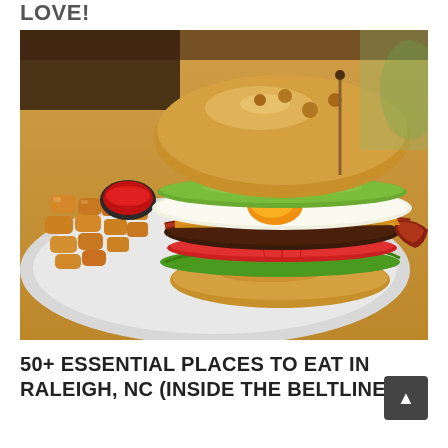LOVE!
[Figure (photo): A large loaded burger with bacon, egg, cheese, avocado, lettuce, and tomato on a brioche bun, served on a white plate with tater tots and a small cup of ketchup on a wooden table.]
50+ ESSENTIAL PLACES TO EAT IN RALEIGH, NC (INSIDE THE BELTLINE)